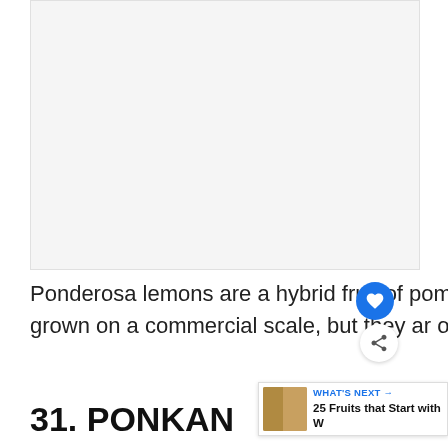[Figure (photo): Placeholder image area for a Ponderosa lemon photo (light grey background)]
Ponderosa lemons are a hybrid fruit of pomelos and citrons. They're not really grown on a commercial scale, but they are often grown as ornamental plants.
31. PONKAN